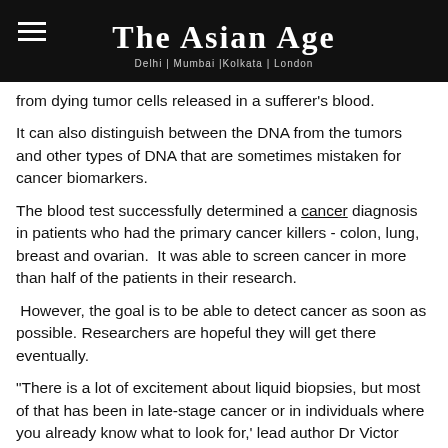THE ASIAN AGE — Delhi | Mumbai |Kolkata | London
from dying tumor cells released in a sufferer's blood.
It can also distinguish between the DNA from the tumors and other types of DNA that are sometimes mistaken for cancer biomarkers.
The blood test successfully determined a cancer diagnosis in patients who had the primary cancer killers - colon, lung, breast and ovarian.  It was able to screen cancer in more than half of the patients in their research.
However, the goal is to be able to detect cancer as soon as possible. Researchers are hopeful they will get there eventually.
"There is a lot of excitement about liquid biopsies, but most of that has been in late-stage cancer or in individuals where you already know what to look for,' lead author Dr Victor Velculescu told the Daily Mail.  Adding, "The surprising result is that we can find a high fraction of early-stage patients having alterations in their blood."